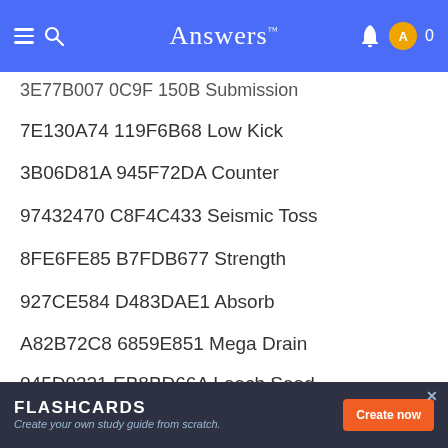Answers
3E77B007 0C9F 150B Submission
7E130A74 119F6B68 Low Kick
3B06D81A 945F72DA Counter
97432470 C8F4C433 Seismic Toss
8FE6FE85 B7FDB677 Strength
927CE584 D483DAE1 Absorb
A82B72C8 6859E851 Mega Drain
045D9321 EB8BD66A Leech Seed
18DAD274 3716058F Growth
669DA897 4D3D25F5 Razor Leaf
FLASHCARDS — Create your own study guide from scratch. | Create now